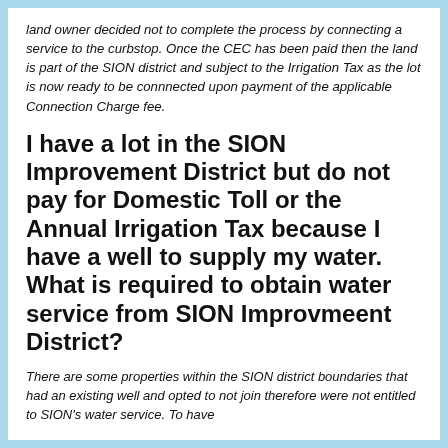land owner decided not to complete the process by connecting a service to the curbstop. Once the CEC has been paid then the land is part of the SION district and subject to the Irrigation Tax as the lot is now ready to be connnected upon payment of the applicable Connection Charge fee.
I have a lot in the SION Improvement District but do not pay for Domestic Toll or the Annual Irrigation Tax because I have a well to supply my water. What is required to obtain water service from SION Improvmeent District?
There are some properties within the SION district boundaries that had an existing well and opted to not join therefore were not entitled to SION's water service. To have